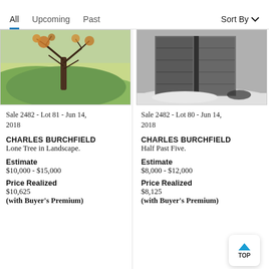All  Upcoming  Past  Sort By
[Figure (illustration): Painting of a lone tree in a landscape with hills, autumn foliage in yellow-green tones]
[Figure (illustration): Charcoal/greyscale painting of a barn door with snow on the ground]
Sale 2482 - Lot 81 - Jun 14, 2018
Sale 2482 - Lot 80 - Jun 14, 2018
CHARLES BURCHFIELD
Lone Tree in Landscape.
CHARLES BURCHFIELD
Half Past Five.
Estimate
$10,000 - $15,000
Estimate
$8,000 - $12,000
Price Realized
$10,625
(with Buyer's Premium)
Price Realized
$8,125
(with Buyer's Premium)